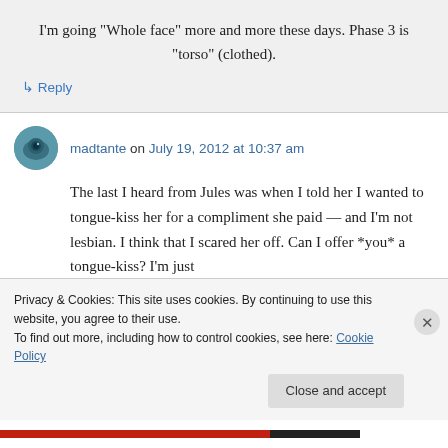I'm going “Whole face” more and more these days. Phase 3 is “torso” (clothed).
↳ Reply
madtante on July 19, 2012 at 10:37 am
The last I heard from Jules was when I told her I wanted to tongue-kiss her for a compliment she paid — and I’m not lesbian. I think that I scared her off. Can I offer *you* a tongue-kiss? I’m just
Privacy & Cookies: This site uses cookies. By continuing to use this website, you agree to their use.
To find out more, including how to control cookies, see here: Cookie Policy